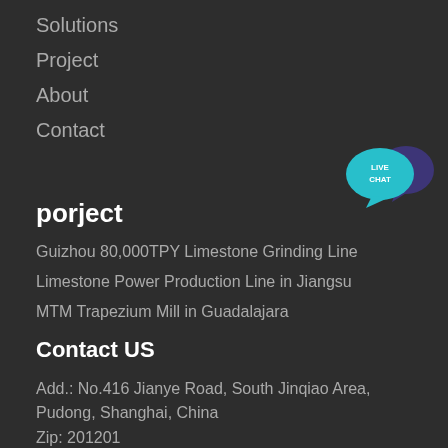Solutions
Project
About
Contact
[Figure (illustration): Live Chat widget with teal speech bubble and dark purple speech bubble, text LIVE CHAT]
porject
Guizhou 80,000TPY Limestone Grinding Line
Limestone Power Production Line in Jiangsu
MTM Trapezium Mill in Guadalajara
Contact US
Add.: No.416 Jianye Road, South Jinqiao Area, Pudong, Shanghai, China
Zip: 201201